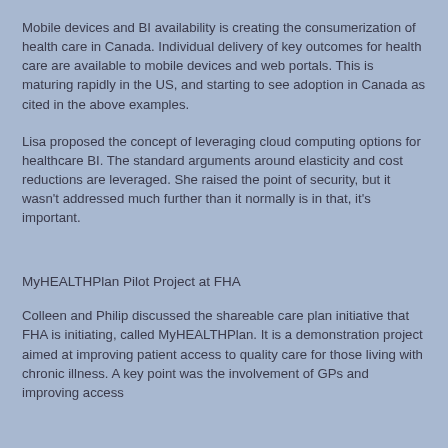Mobile devices and BI availability is creating the consumerization of health care in Canada. Individual delivery of key outcomes for health care are available to mobile devices and web portals. This is maturing rapidly in the US, and starting to see adoption in Canada as cited in the above examples.
Lisa proposed the concept of leveraging cloud computing options for healthcare BI. The standard arguments around elasticity and cost reductions are leveraged. She raised the point of security, but it wasn't addressed much further than it normally is in that, it's important.
MyHEALTHPlan Pilot Project at FHA
Colleen and Philip discussed the shareable care plan initiative that FHA is initiating, called MyHEALTHPlan. It is a demonstration project aimed at improving patient access to quality care for those living with chronic illness. A key point was the involvement of GPs and improving access